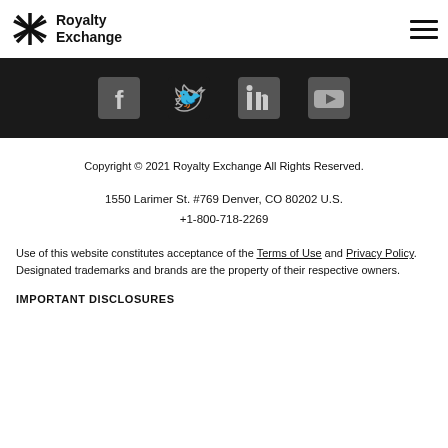[Figure (logo): Royalty Exchange logo with geometric icon and text]
[Figure (infographic): Social media icons: Facebook, Twitter, LinkedIn, YouTube on dark background]
Copyright © 2021 Royalty Exchange All Rights Reserved.
1550 Larimer St. #769 Denver, CO 80202 U.S.
+1-800-718-2269
Use of this website constitutes acceptance of the Terms of Use and Privacy Policy. Designated trademarks and brands are the property of their respective owners.
IMPORTANT DISCLOSURES